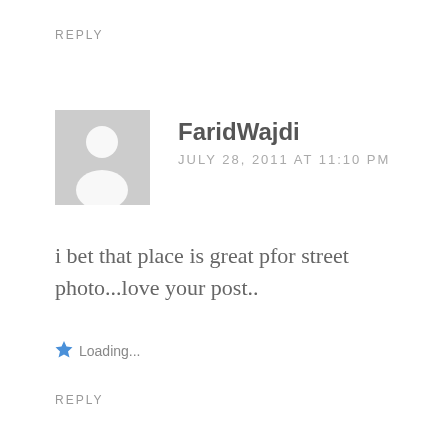REPLY
[Figure (illustration): Generic avatar placeholder: grey square with a white silhouette of a person (head circle and shoulders)]
FaridWajdi
JULY 28, 2011 AT 11:10 PM
i bet that place is great pfor street photo...love your post..
Loading...
REPLY